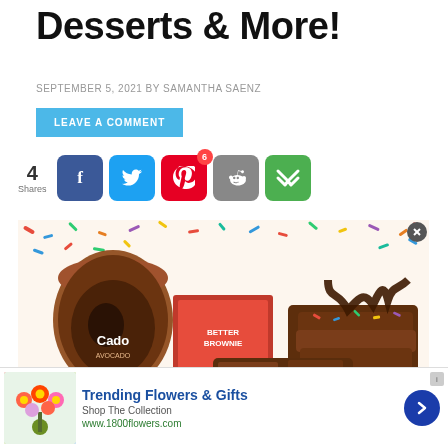Desserts & More!
SEPTEMBER 5, 2021 BY SAMANTHA SAENZ
LEAVE A COMMENT
4 Shares
[Figure (photo): Photo of Cado avocado ice cream, Better Brownie box, and stacked brownies with chocolate drizzle and rainbow sprinkles on colorful confetti background]
[Figure (photo): Advertisement: Trending Flowers & Gifts - Shop The Collection - www.1800flowers.com - with flower bouquet image]